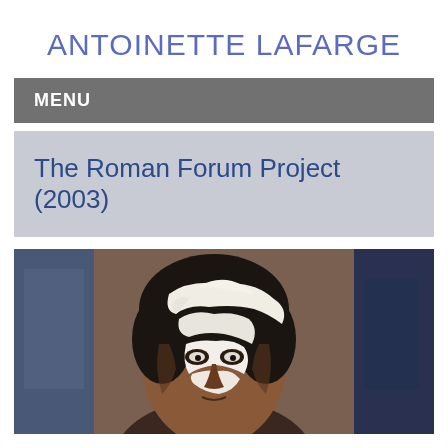ANTOINETTE LAFARGE
MENU
The Roman Forum Project (2003)
[Figure (photo): Close-up photograph of a person's face with white cream or paint covering portions of their face and hair, appearing to be from a performance or theatrical context.]